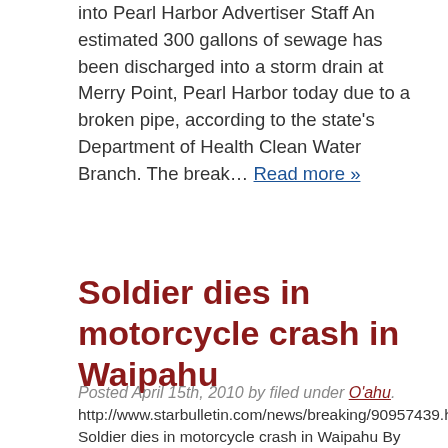into Pearl Harbor Advertiser Staff An estimated 300 gallons of sewage has been discharged into a storm drain at Merry Point, Pearl Harbor today due to a broken pipe, according to the state's Department of Health Clean Water Branch. The break… Read more »
Soldier dies in motorcycle crash in Waipahu
Posted April 15th, 2010 by filed under O'ahu.
http://www.starbulletin.com/news/breaking/90957439.html Soldier dies in motorcycle crash in Waipahu By